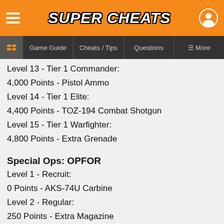SUPER CHEATS
Game Guide | Cheats / Tips | Questions | More
Level 13 - Tier 1 Commander:
4,000 Points - Pistol Ammo
Level 14 - Tier 1 Elite:
4,400 Points - TOZ-194 Combat Shotgun
Level 15 - Tier 1 Warfighter:
4,800 Points - Extra Grenade
Special Ops: OPFOR
Level 1 - Recruit:
0 Points - AKS-74U Carbine
Level 2 - Regular:
250 Points - Extra Magazine
Level 3 - Expert:
350 Points - Red Dot Sight